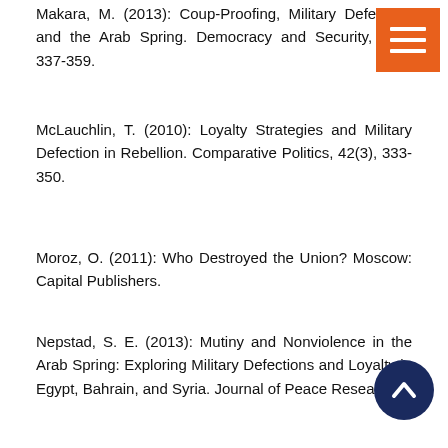Makara, M. (2013): Coup-Proofing, Military Defection, and the Arab Spring. Democracy and Security, 9(4), 337-359.
McLauchlin, T. (2010): Loyalty Strategies and Military Defection in Rebellion. Comparative Politics, 42(3), 333-350.
Moroz, O. (2011): Who Destroyed the Union? Moscow: Capital Publishers.
Nepstad, S. E. (2013): Mutiny and Nonviolence in the Arab Spring: Exploring Military Defections and Loyalty in Egypt, Bahrain, and Syria. Journal of Peace Research, 50(3), 337-349.